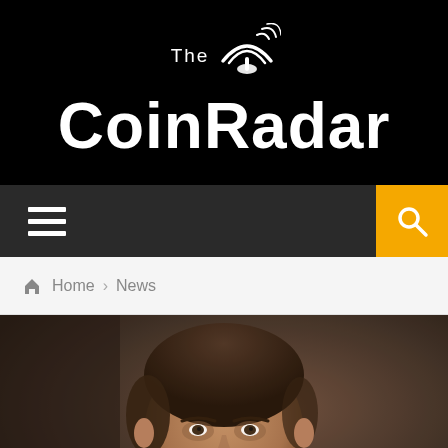[Figure (logo): The CoinRadar logo — white text on black background with satellite dish icon]
☰  🔍
🏠 Home › News
[Figure (photo): Close-up photo of a man (Alex Mashinsky, Celsius CEO) with dark background. Overlaid title text reads: CELSIUS HAS A $1.2B HOLE IN ITS BALANCE]
CELSIUS HAS A $1.2B HOLE IN ITS BALANCE